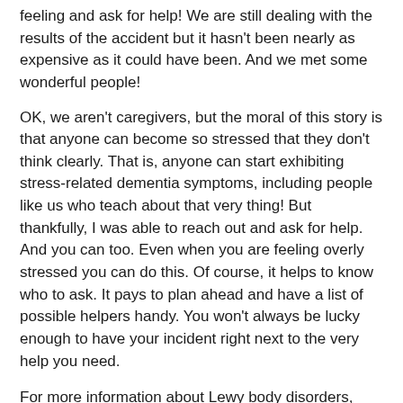feeling and ask for help! We are still dealing with the results of the accident but it hasn't been nearly as expensive as it could have been. And we met some wonderful people!
OK, we aren't caregivers, but the moral of this story is that anyone can become so stressed that they don't think clearly. That is, anyone can start exhibiting stress-related dementia symptoms, including people like us who teach about that very thing! But thankfully, I was able to reach out and ask for help. And you can too. Even when you are feeling overly stressed you can do this. Of course, it helps to know who to ask. It pays to plan ahead and have a list of possible helpers handy. You won't always be lucky enough to have your incident right next to the very help you need.
For more information about Lewy body disorders, read our books:
A Caregivers' Guide to Lewy Body Dementia
Managing Cognitive Issues in Parkinson's and Lewy Body Dementia
Helen and James Whitworth are not doctors, lawyers or